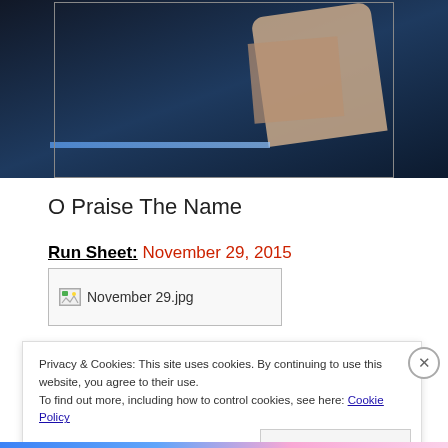[Figure (photo): Dark stage background with what appears to be a person in a light-colored jacket, blue stage lighting]
O Praise The Name
Run Sheet: November 29, 2015
[Figure (other): Broken image placeholder labeled 'November 29.jpg']
Privacy & Cookies: This site uses cookies. By continuing to use this website, you agree to their use.
To find out more, including how to control cookies, see here: Cookie Policy
Close and accept